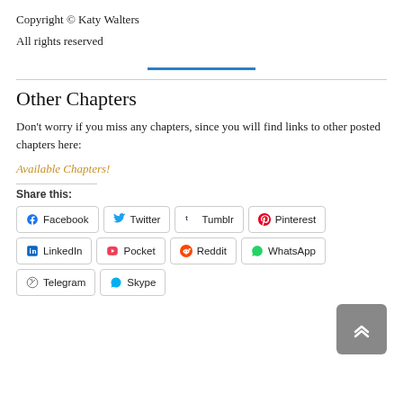Copyright © Katy Walters
All rights reserved
Other Chapters
Don't worry if you miss any chapters, since you will find links to other posted chapters here:
Available Chapters!
Share this:
Facebook  Twitter  Tumblr  Pinterest  LinkedIn  Pocket  Reddit  WhatsApp  Print  Telegram  Skype